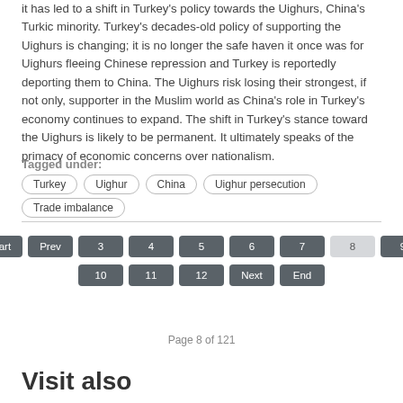it has led to a shift in Turkey's policy towards the Uighurs, China's Turkic minority. Turkey's decades-old policy of supporting the Uighurs is changing; it is no longer the safe haven it once was for Uighurs fleeing Chinese repression and Turkey is reportedly deporting them to China. The Uighurs risk losing their strongest, if not only, supporter in the Muslim world as China's role in Turkey's economy continues to expand. The shift in Turkey's stance toward the Uighurs is likely to be permanent. It ultimately speaks of the primacy of economic concerns over nationalism.
Tagged under: Turkey, Uighur, China, Uighur persecution, Trade imbalance
Start Prev 3 4 5 6 7 8 9 10 11 12 Next End
Page 8 of 121
Visit also